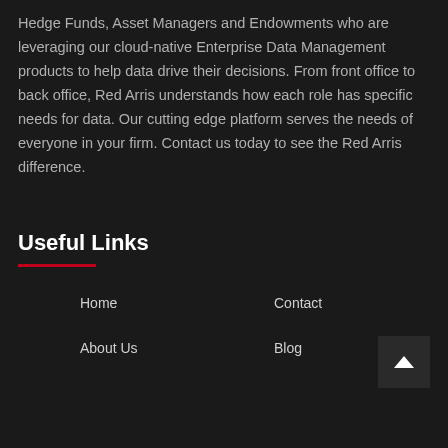Hedge Funds, Asset Managers and Endowments who are leveraging our cloud-native Enterprise Data Management products to help data drive their decisions. From front office to back office, Red Arris understands how each role has specific needs for data. Our cutting edge platform serves the needs of everyone in your firm. Contact us today to see the Red Arris difference.
Useful Links
Home
Contact
About Us
Blog